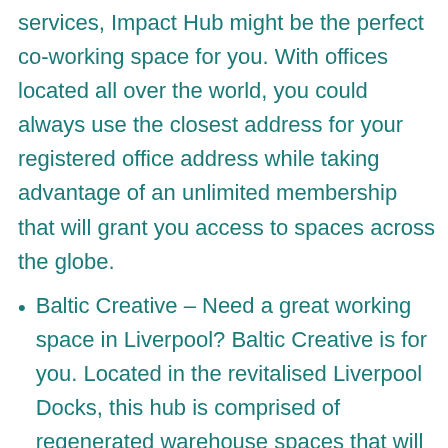services, Impact Hub might be the perfect co-working space for you. With offices located all over the world, you could always use the closest address for your registered office address while taking advantage of an unlimited membership that will grant you access to spaces across the globe.
Baltic Creative – Need a great working space in Liverpool? Baltic Creative is for you. Located in the revitalised Liverpool Docks, this hub is comprised of regenerated warehouse spaces that will